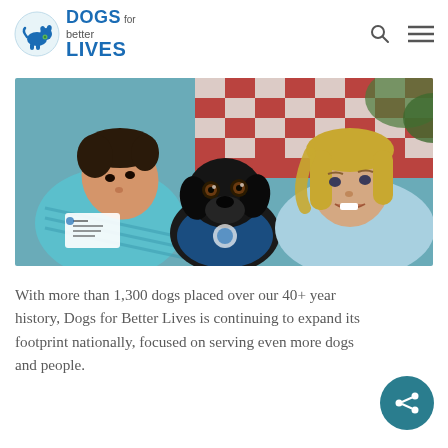Dogs for Better Lives
[Figure (photo): Two children lying down with a black Labrador service dog wearing a blue vest between them, at an outdoor event with red and white checkered tablecloths in the background.]
With more than 1,300 dogs placed over our 40+ year history, Dogs for Better Lives is continuing to expand its footprint nationally, focused on serving even more dogs and people.